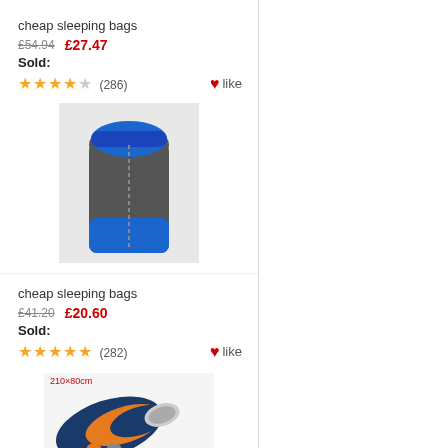cheap sleeping bags
£54.94  £27.47
Sold:
★★★★☆ (286)  like
[Figure (photo): Rectangular sleeping bag in grey/dark with blue accent, laid flat, rounded top]
cheap sleeping bags
£41.20  £20.60
Sold:
★★★★★ (282)  like
[Figure (photo): Sleeping bag rolled up, navy blue and orange colors, 210x80cm label in red]